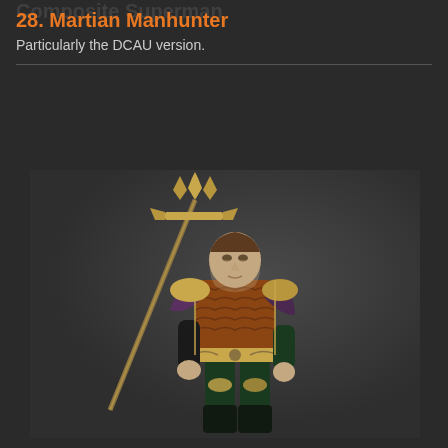28. Martian Manhunter
Particularly the DCAU version.
[Figure (illustration): 3D rendered character model of Aquaman from a video game, holding a golden trident. He wears orange scale-mail chest armor, dark green pants with gold trim, purple shoulder armor, and black boots. The background is dark grey.]